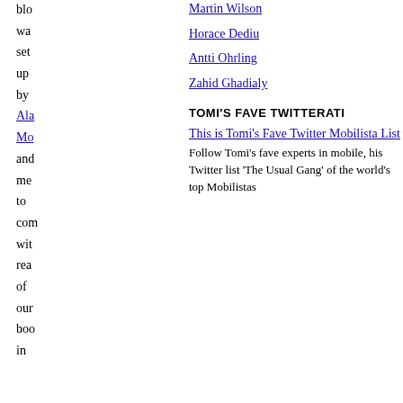blo
Martin Wilson
wa
Horace Dediu
set
Antti Ohrling
up
Zahid Ghadialy
by
TOMI'S FAVE TWITTERATI
Ala
This is Tomi's Fave Twitter Mobilista List
Mo
Follow Tomi's fave experts in mobile, his Twitter list 'The Usual Gang' of the world's top Mobilistas
and
me
to
com
wit
rea
of
our
boo
in